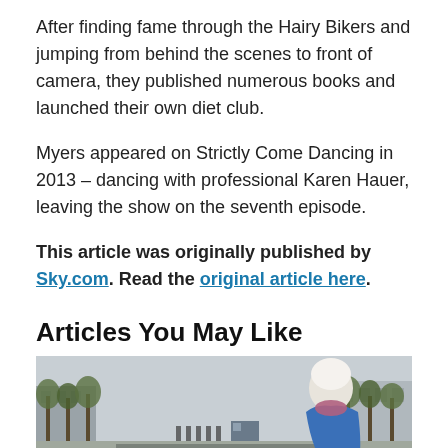After finding fame through the Hairy Bikers and jumping from behind the scenes to front of camera, they published numerous books and launched their own diet club.
Myers appeared on Strictly Come Dancing in 2013 – dancing with professional Karen Hauer, leaving the show on the seventh episode.
This article was originally published by Sky.com. Read the original article here.
Articles You May Like
[Figure (photo): A person in a white hat and blue jacket viewed from behind, standing on a street with police/military personnel in the distance, trees lining the road, and vehicles visible.]